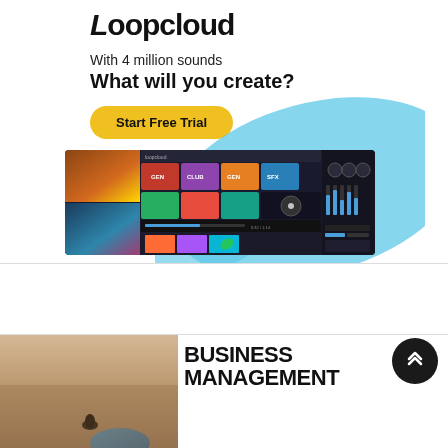[Figure (screenshot): Loopcloud advertisement banner with logo, tagline 'With 4 million sounds / What will you create?', yellow Start Free Trial button, blue swoosh background, and app screenshots]
[Figure (photo): Article thumbnail photo showing a bird or insect on a beige/tan surface, used as illustration for a Business Management article]
BUSINESS MANAGEMENT